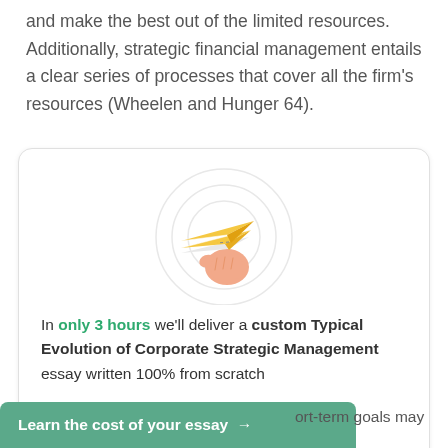and make the best out of the limited resources. Additionally, strategic financial management entails a clear series of processes that cover all the firm's resources (Wheelen and Hunger 64).
[Figure (illustration): Promotional card with paper airplane held by a hand illustration against concentric circles background, with text 'In only 3 hours we'll deliver a custom Typical Evolution of Corporate Strategic Management essay written 100% from scratch' and an orange 'Get help →' button.]
Learn the cost of your essay → ort-term goals may be sacrificed at times in order to achieve long-term